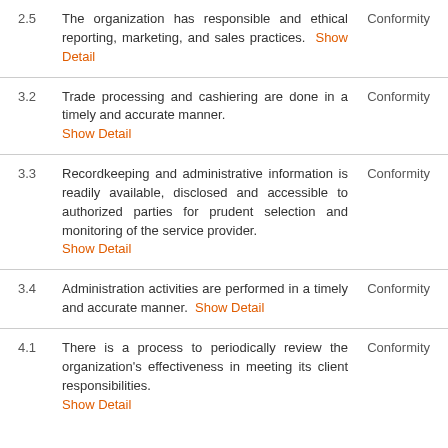2.5 The organization has responsible and ethical reporting, marketing, and sales practices. Show Detail — Conformity
3.2 Trade processing and cashiering are done in a timely and accurate manner. Show Detail — Conformity
3.3 Recordkeeping and administrative information is readily available, disclosed and accessible to authorized parties for prudent selection and monitoring of the service provider. Show Detail — Conformity
3.4 Administration activities are performed in a timely and accurate manner. Show Detail — Conformity
4.1 There is a process to periodically review the organization's effectiveness in meeting its client responsibilities. Show Detail — Conformity